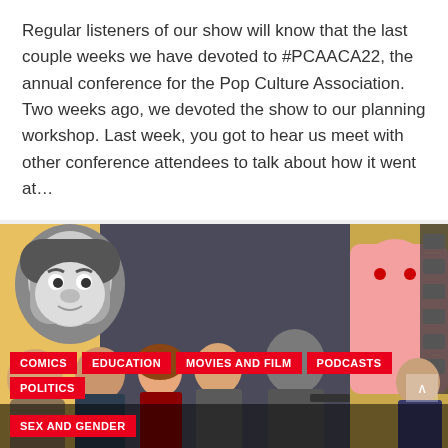Regular listeners of our show will know that the last couple weeks we have devoted to #PCAACA22, the annual conference for the Pop Culture Association. Two weeks ago, we devoted the show to our planning workshop. Last week, you got to hear us meet with other conference attendees to talk about how it went at…
[Figure (photo): Composite image featuring various pop culture characters and people including animated characters, actors, and movie/TV figures. Below the image are red category tags: COMICS, EDUCATION, MOVIES AND FILM, PODCASTS, POLITICS, SEX AND GENDER]
e210. #PCAACA22: The Afterparty